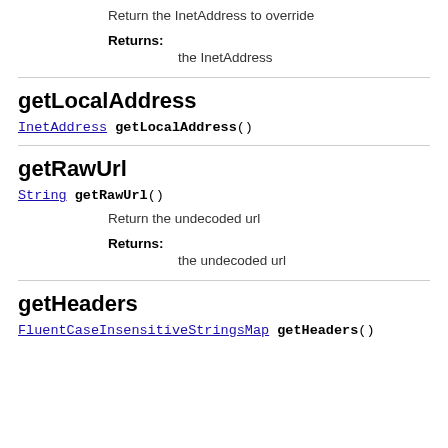Return the InetAddress to override
Returns:
    the InetAddress
getLocalAddress
InetAddress getLocalAddress()
getRawUrl
String getRawUrl()
Return the undecoded url
Returns:
    the undecoded url
getHeaders
FluentCaseInsensitiveStringsMap getHeaders()